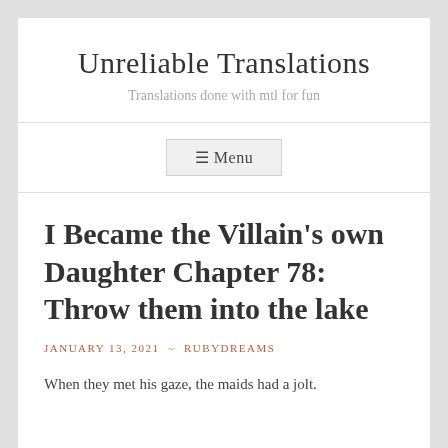Unreliable Translations
Translations done with mtl for fun
☰ Menu
I Became the Villain's own Daughter Chapter 78: Throw them into the lake
JANUARY 13, 2021 ~ RUBYDREAMS
When they met his gaze, the maids had a jolt.